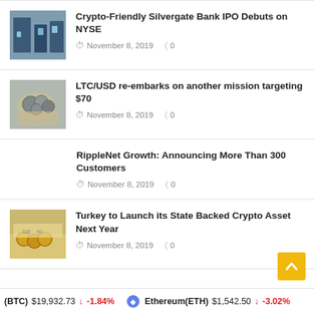[Figure (photo): Photo of what appears to be a bank or tech interior with screens]
Crypto-Friendly Silvergate Bank IPO Debuts on NYSE
November 8, 2019   0
[Figure (photo): Photo of a hand holding coins]
LTC/USD re-embarks on another mission targeting $70
November 8, 2019   0
RippleNet Growth: Announcing More Than 300 Customers
November 8, 2019   0
[Figure (photo): Photo of Turkish coins and currency notes]
Turkey to Launch its State Backed Crypto Asset Next Year
November 8, 2019   0
(BTC) $19,932.73 ↓ -1.84%   Ethereum(ETH) $1,542.50 ↓ -3.02%